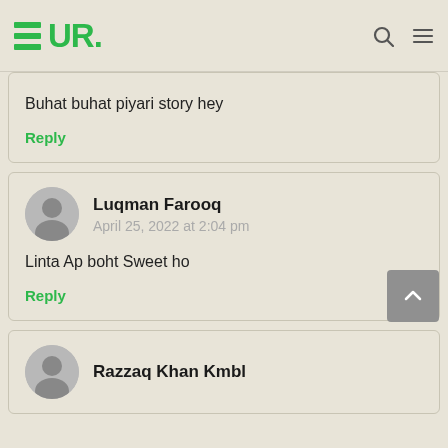EUR. (logo with hamburger lines)
Buhat buhat piyari story hey
Reply
Luqman Farooq
April 25, 2022 at 2:04 pm
Linta Ap boht Sweet ho
Reply
Razzaq Khan Kmbl